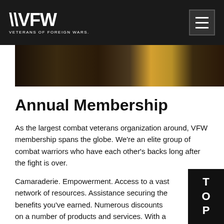VFW — VETERANS OF FOREIGN WARS.
[Figure (photo): A dark photo strip showing people at what appears to be a VFW event or gathering]
Annual Membership
As the largest combat veterans organization around, VFW membership spans the globe. We're an elite group of combat warriors who have each other's backs long after the fight is over.
Camaraderie. Empowerment. Access to a vast network of resources. Assistance securing the benefits you've earned. Numerous discounts on a number of products and services. With a VFW membership, you'll find all this and more! Further, your VFW membership establishes your place in the VFW legacy that dates back to our founding in 1899.